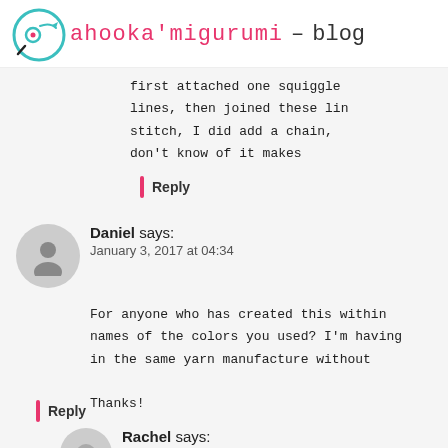ahooka'migurumi – blog
first attached one squiggle lines, then joined these lines stitch, I did add a chain, don't know of it makes
Reply
Daniel says: January 3, 2017 at 04:34
For anyone who has created this within names of the colors you used? I'm having in the same yarn manufacture without Thanks!
Reply
Rachel says: January 4, 2017 at 02:04